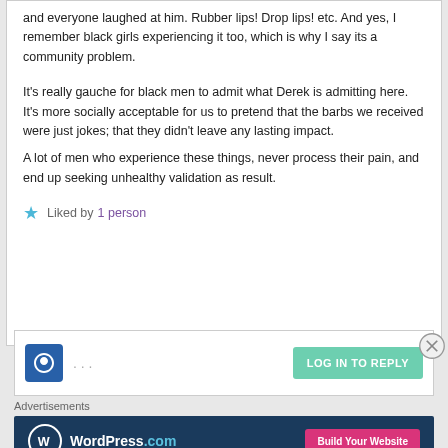and everyone laughed at him. Rubber lips! Drop lips! etc. And yes, I remember black girls experiencing it too, which is why I say its a community problem.
It's really gauche for black men to admit what Derek is admitting here. It's more socially acceptable for us to pretend that the barbs we received were just jokes; that they didn't leave any lasting impact. A lot of men who experience these things, never process their pain, and end up seeking unhealthy validation as result.
Liked by 1 person
[Figure (screenshot): Reply box with avatar icon, text area, and LOG IN TO REPLY button]
Advertisements
[Figure (screenshot): WordPress.com advertisement banner with Build Your Website button]